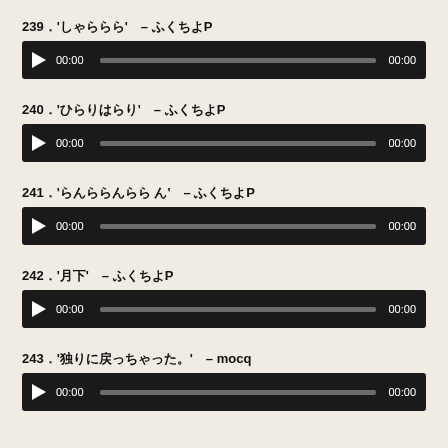239. 'しゃららら' – ふくちよP
[Figure (other): Audio player for track 239, showing play button, 00:00 start time, progress bar, and 00:00 end time]
240. 'ひらりはらり' – ふくちよP
[Figure (other): Audio player for track 240, showing play button, 00:00 start time, progress bar, and 00:00 end time]
241. 'らんららんらら ん' – ふくちよP
[Figure (other): Audio player for track 241, showing play button, 00:00 start time, progress bar, and 00:00 end time]
242. '月下' – ふくちよP
[Figure (other): Audio player for track 242, showing play button, 00:00 start time, progress bar, and 00:00 end time]
243. '独りに戻っちゃった。' – mocq
[Figure (other): Audio player for track 243, showing play button, 00:00 start time, progress bar, and 00:00 end time]